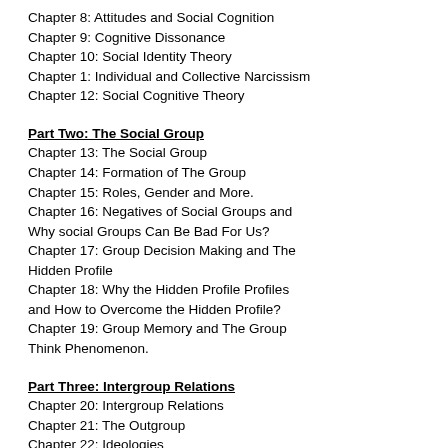Chapter 8: Attitudes and Social Cognition
Chapter 9: Cognitive Dissonance
Chapter 10: Social Identity Theory
Chapter 1: Individual and Collective Narcissism
Chapter 12: Social Cognitive Theory
Part Two: The Social Group
Chapter 13: The Social Group
Chapter 14: Formation of The Group
Chapter 15: Roles, Gender and More.
Chapter 16: Negatives of Social Groups and Why social Groups Can Be Bad For Us?
Chapter 17: Group Decision Making and The Hidden Profile
Chapter 18: Why the Hidden Profile Profiles and How to Overcome the Hidden Profile?
Chapter 19: Group Memory and The Group Think Phenomenon.
Part Three: Intergroup Relations
Chapter 20: Intergroup Relations
Chapter 21: The Outgroup
Chapter 22: Ideologies
Chapter 23: Introduction to Sexism
Chapter 24: Sexism
Chapter 25: Ideologies Of Meritocracy And Why Ideologies Are Important?